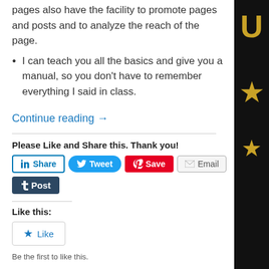pages also have the facility to promote pages and posts and to analyze the reach of the page.
I can teach you all the basics and give you a manual, so you don't have to remember everything I said in class.
Continue reading →
Please Like and Share this. Thank you!
[Figure (screenshot): Social sharing buttons: LinkedIn Share, Twitter Tweet, Pinterest Save, Email, Tumblr Post]
Like this:
[Figure (screenshot): WordPress Like button widget with star icon]
Be the first to like this.